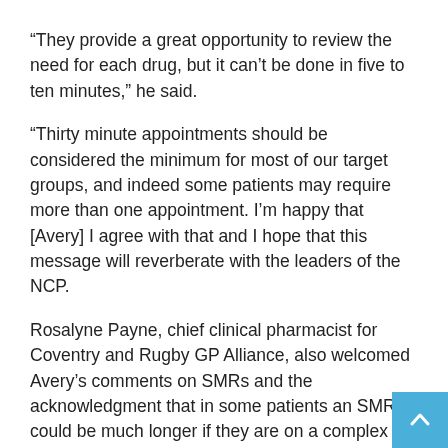“They provide a great opportunity to review the need for each drug, but it can’t be done in five to ten minutes,” he said.
“Thirty minute appointments should be considered the minimum for most of our target groups, and indeed some patients may require more than one appointment. I’m happy that [Avery] I agree with that and I hope that this message will reverberate with the leaders of the NCP.
Rosalyne Payne, chief clinical pharmacist for Coventry and Rugby GP Alliance, also welcomed Avery’s comments on SMRs and the acknowledgment that in some patients an SMR could be much longer if they are on a complex diet or have a lot to discuss.
“We also need to be aware that the RMS are not self-contained, they are part of a series of consultations – it’s not just a 30 minute consultation, tick, it’s done until next year, it is the recognition that this is the start of a relationship as we support